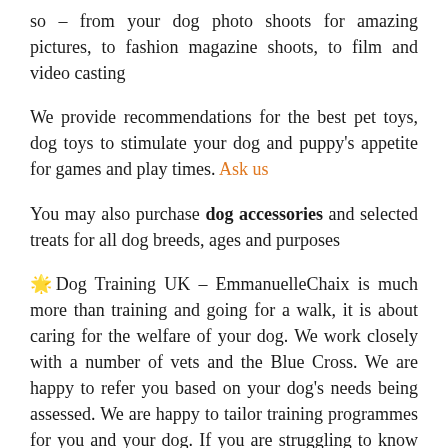so – from your dog photo shoots for amazing pictures, to fashion magazine shoots, to film and video casting
We provide recommendations for the best pet toys, dog toys to stimulate your dog and puppy's appetite for games and play times. Ask us
You may also purchase dog accessories and selected treats for all dog breeds, ages and purposes
🌟Dog Training UK – EmmanuelleChaix is much more than training and going for a walk, it is about caring for the welfare of your dog. We work closely with a number of vets and the Blue Cross. We are happy to refer you based on your dog's needs being assessed. We are happy to tailor training programmes for you and your dog. If you are struggling to know where to start with your dog or puppy, the Blue Cross is also a